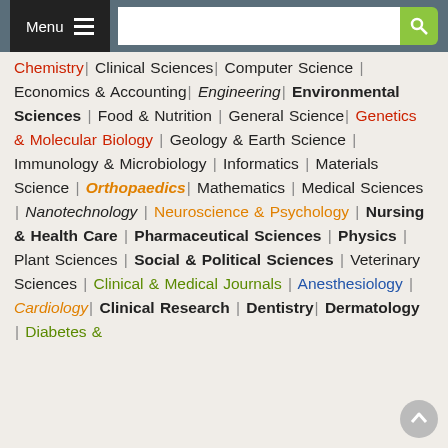Menu [navigation bar with search]
Chemistry | Clinical Sciences | Computer Science | Economics & Accounting | Engineering | Environmental Sciences | Food & Nutrition | General Science | Genetics & Molecular Biology | Geology & Earth Science | Immunology & Microbiology | Informatics | Materials Science | Orthopaedics | Mathematics | Medical Sciences | Nanotechnology | Neuroscience & Psychology | Nursing & Health Care | Pharmaceutical Sciences | Physics | Plant Sciences | Social & Political Sciences | Veterinary Sciences | Clinical & Medical Journals | Anesthesiology | Cardiology | Clinical Research | Dentistry | Dermatology | Diabetes &